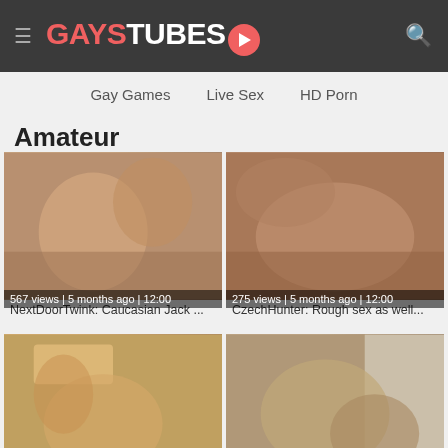GaysTubes
Gay Games   Live Sex   HD Porn
Amateur
[Figure (photo): Video thumbnail for NextDoorTwink: Caucasian Jack ... — 567 views | 5 months ago | 12:00]
[Figure (photo): Video thumbnail for CzechHunter: Rough sex as well... — 275 views | 5 months ago | 12:00]
[Figure (photo): Video thumbnail, bottom left, partial view]
[Figure (photo): Video thumbnail, bottom right, partial view]